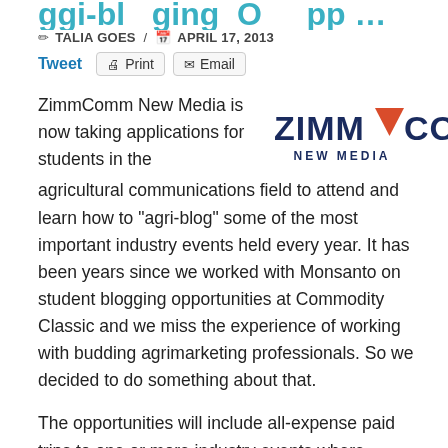Agri-blogging Opportunities
TALIA GOES / APRIL 17, 2013
Tweet  Print  Email
[Figure (logo): ZimmComm New Media logo with orange/red triangle between ZIMM and COMM in dark navy blue text, NEW MEDIA below in smaller navy letters]
ZimmComm New Media is now taking applications for students in the agricultural communications field to attend and learn how to “agri-blog” some of the most important industry events held every year. It has been years since we worked with Monsanto on student blogging opportunities at Commodity Classic and we miss the experience of working with budding agrimarketing professionals. So we decided to do something about that.
The opportunities will include all-expense paid trips to one or more industry events where students will assist in the compiling of photos, audio and video and posting of activities on pertinent websites. Interns will learn and